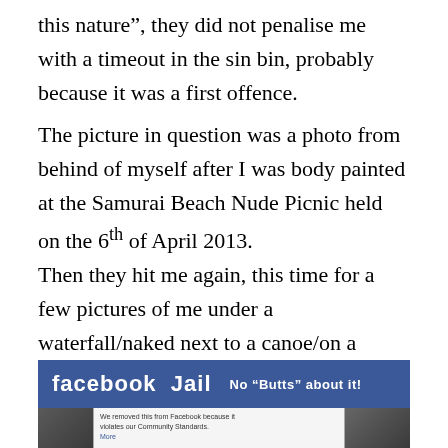this nature”, they did not penalise me with a timeout in the sin bin, probably because it was a first offence.
The picture in question was a photo from behind of myself after I was body painted at the Samurai Beach Nude Picnic held on the 6th of April 2013.
Then they hit me again, this time for a few pictures of me under a waterfall/naked next to a canoe/on a beach from a distance… all the pictures displayed my butt!
[Figure (screenshot): Screenshot of a Facebook Jail image with blue banner reading 'facebook Jail No "Butts" about it!' and photos below with text about content removal]